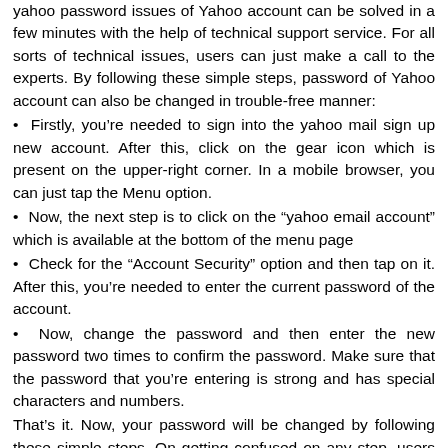yahoo password issues of Yahoo account can be solved in a few minutes with the help of technical support service. For all sorts of technical issues, users can just make a call to the experts. By following these simple steps, password of Yahoo account can also be changed in trouble-free manner:
Firstly, you’re needed to sign into the yahoo mail sign up new account. After this, click on the gear icon which is present on the upper-right corner. In a mobile browser, you can just tap the Menu option.
Now, the next step is to click on the “yahoo email account” which is available at the bottom of the menu page
Check for the “Account Security” option and then tap on it. After this, you’re needed to enter the current password of the account.
Now, change the password and then enter the new password two times to confirm the password. Make sure that the password that you’re entering is strong and has special characters and numbers.
That’s it. Now, your password will be changed by following these simple steps. On getting confused on any step, users can easily contact the experts. A team of technical representative helps the users in handling any sort of